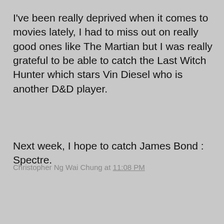I've been really deprived when it comes to movies lately, I had to miss out on really good ones like The Martian but I was really grateful to be able to catch the Last Witch Hunter which stars Vin Diesel who is another D&D player.
Next week, I hope to catch James Bond : Spectre.
Christopher Ng Wai Chung at 11:08 PM